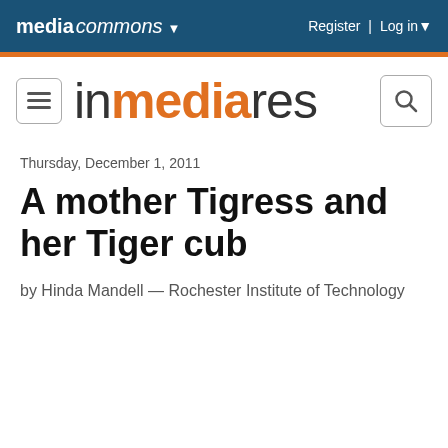media commons ▾   Register | Log in ▾
[Figure (logo): In Media Res site logo with menu and search buttons]
Thursday, December 1, 2011
A mother Tigress and her Tiger cub
by Hinda Mandell — Rochester Institute of Technology